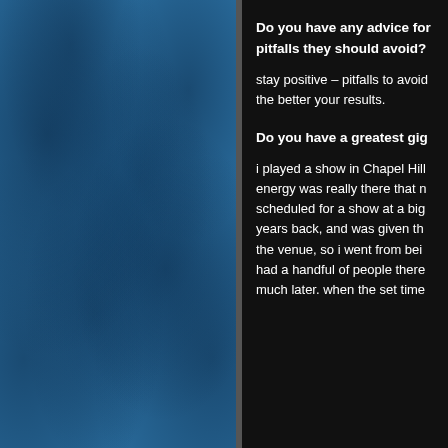[Figure (photo): Blue textured background panel on the left side of the page, with a mottled, weathered blue surface resembling worn paint or stone.]
Do you have any advice for pitfalls they should avoid?
stay positive – pitfalls to avoid the better your results.
Do you have a greatest gig
i played a show in Chapel Hill energy was really there that m scheduled for a show at a big years back, and was given the the venue, so i went from bei had a handful of people there much later. when the set time